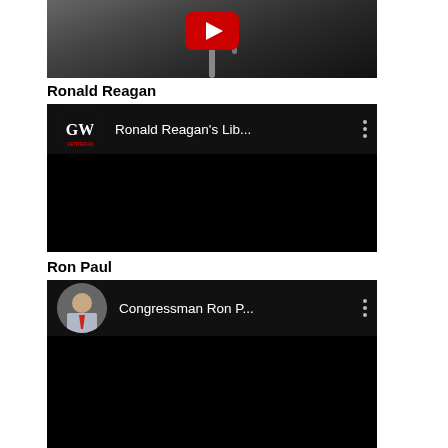[Figure (screenshot): Partially visible YouTube video thumbnail showing a black-and-white image of a man at a microphone with YouTube play button overlay]
Ronald Reagan
[Figure (screenshot): YouTube channel embed for Ronald Reagan's Lib... with logo avatar and three-dot menu]
Ron Paul
[Figure (screenshot): YouTube channel embed for Congressman Ron P... with Ron Paul photo avatar and three-dot menu]